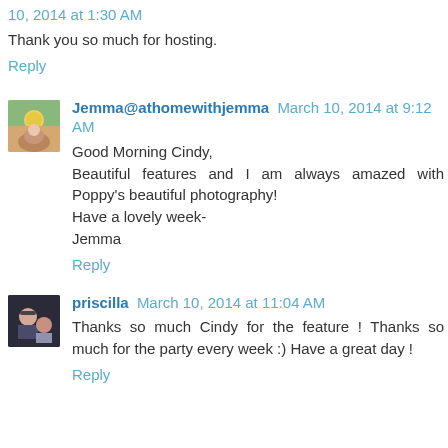10, 2014 at 1:30 AM
Thank you so much for hosting.
Reply
[Figure (photo): Avatar photo of a person with yellow fruit background]
Jemma@athomewithjemma March 10, 2014 at 9:12 AM
Good Morning Cindy,
Beautiful features and I am always amazed with Poppy's beautiful photography!
Have a lovely week-
Jemma
Reply
[Figure (photo): Avatar photo of a woman with glasses and another person]
priscilla March 10, 2014 at 11:04 AM
Thanks so much Cindy for the feature ! Thanks so much for the party every week :) Have a great day !
Reply